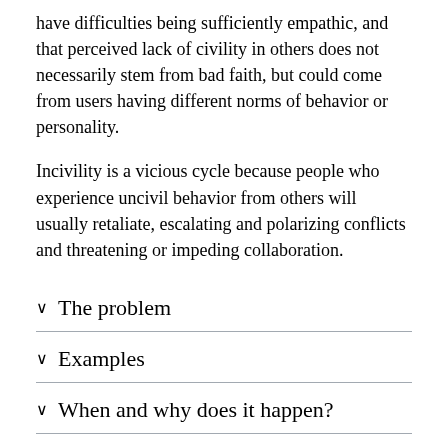have difficulties being sufficiently empathic, and that perceived lack of civility in others does not necessarily stem from bad faith, but could come from users having different norms of behavior or personality.
Incivility is a vicious cycle because people who experience uncivil behavior from others will usually retaliate, escalating and polarizing conflicts and threatening or impeding collaboration.
The problem
Examples
When and why does it happen?